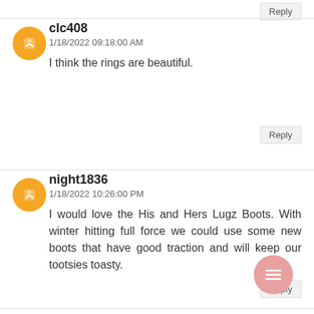Reply
clc408
1/18/2022 09:18:00 AM
I think the rings are beautiful.
Reply
night1836
1/18/2022 10:26:00 PM
I would love the His and Hers Lugz Boots. With winter hitting full force we could use some new boots that have good traction and will keep our tootsies toasty.
Reply